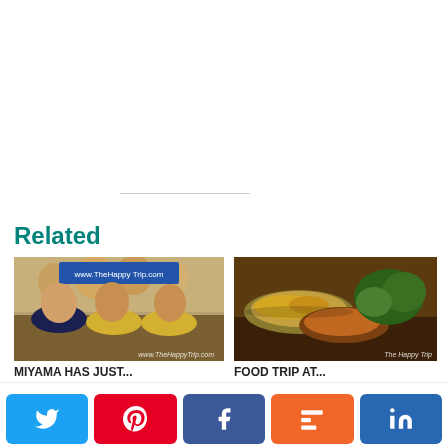Related
[Figure (photo): Group photo of three men smiling, indoor restaurant setting with people in background; watermark: www.TheHappyTrip.com]
[Figure (photo): Food spread at a buffet or market with various dishes including fried items and greens; watermark: The Happy Trip]
MIYAMA HAS JUST...
FOOD TRIP AT...
Search for
[Figure (infographic): Social share buttons: Twitter (blue), Pinterest (red), Facebook (blue), Mix (orange), LinkedIn (dark blue)]